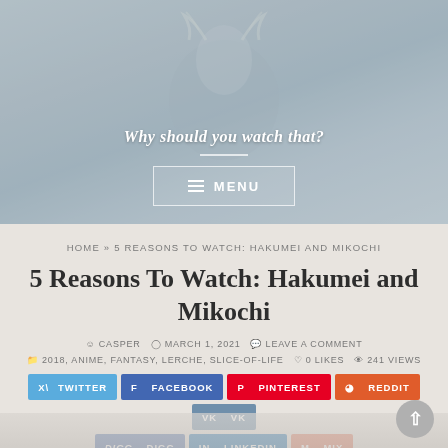[Figure (illustration): Anime-style illustration used as page header banner with a character figure and soft blue-grey tones. Tagline 'Why should you watch that?' overlaid with a MENU button.]
Why should you watch that?
HOME » 5 REASONS TO WATCH: HAKUMEI AND MIKOCHI
5 Reasons To Watch: Hakumei and Mikochi
CASPER   MARCH 1, 2021   LEAVE A COMMENT
2018, ANIME, FANTASY, LERCHE, SLICE-OF-LIFE   0 LIKES   241 VIEWS
TWITTER  FACEBOOK  PINTEREST  REDDIT  VK  DIGG  LINKEDIN  MIX